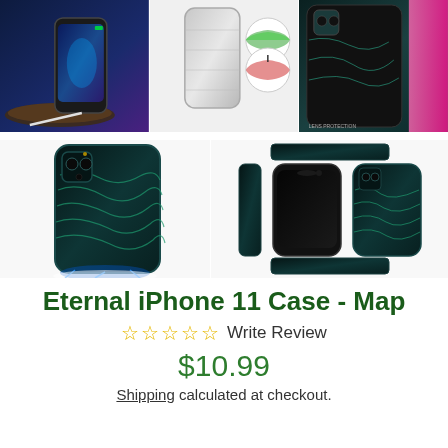[Figure (photo): Top row of three product images: left shows iPhone on wireless charging pad with dark background, middle shows silver iPhone case with cross-section diagram circles, right shows dark teal iPhone case with 'LENS PROTECTION' label]
[Figure (photo): Bottom row of two product images: left shows dark teal map-patterned iPhone 11 case (back view), right shows three-angle product view (side, front, back) of the dark teal map case]
Eternal iPhone 11 Case - Map
☆☆☆☆☆ Write Review
$10.99
Shipping calculated at checkout.